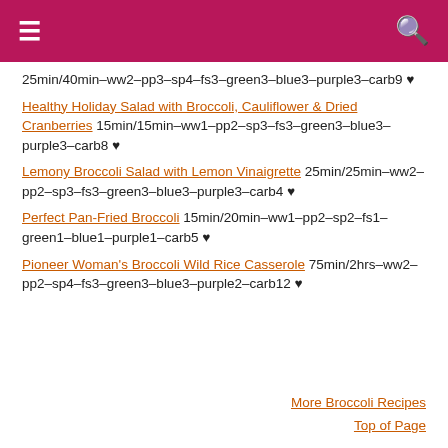≡  🔍
25min/40min–ww2–pp3–sp4–fs3–green3–blue3–purple3–carb9 ♥
Healthy Holiday Salad with Broccoli, Cauliflower & Dried Cranberries 15min/15min–ww1–pp2–sp3–fs3–green3–blue3–purple3–carb8 ♥
Lemony Broccoli Salad with Lemon Vinaigrette 25min/25min–ww2–pp2–sp3–fs3–green3–blue3–purple3–carb4 ♥
Perfect Pan-Fried Broccoli 15min/20min–ww1–pp2–sp2–fs1–green1–blue1–purple1–carb5 ♥
Pioneer Woman's Broccoli Wild Rice Casserole 75min/2hrs–ww2–pp2–sp4–fs3–green3–blue3–purple2–carb12 ♥
More Broccoli Recipes
Top of Page